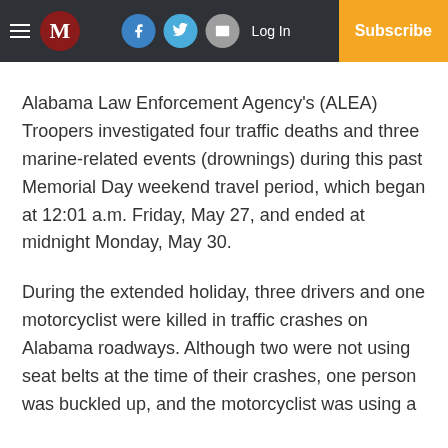M | Log In | Subscribe
Alabama Law Enforcement Agency's (ALEA) Troopers investigated four traffic deaths and three marine-related events (drownings) during this past Memorial Day weekend travel period, which began at 12:01 a.m. Friday, May 27, and ended at midnight Monday, May 30.
During the extended holiday, three drivers and one motorcyclist were killed in traffic crashes on Alabama roadways. Although two were not using seat belts at the time of their crashes, one person was buckled up, and the motorcyclist was using a